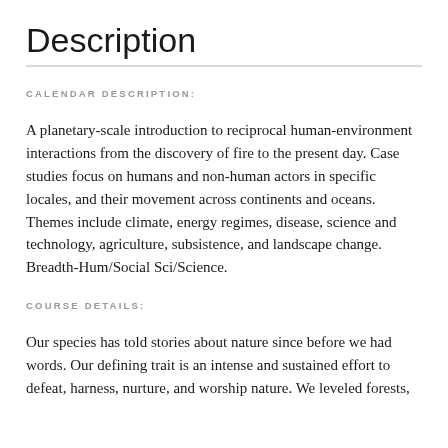Description
CALENDAR DESCRIPTION:
A planetary-scale introduction to reciprocal human-environment interactions from the discovery of fire to the present day. Case studies focus on humans and non-human actors in specific locales, and their movement across continents and oceans. Themes include climate, energy regimes, disease, science and technology, agriculture, subsistence, and landscape change. Breadth-Hum/Social Sci/Science.
COURSE DETAILS:
Our species has told stories about nature since before we had words. Our defining trait is an intense and sustained effort to defeat, harness, nurture, and worship nature. We leveled forests,